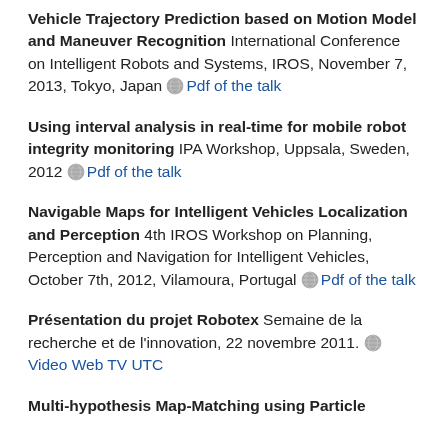Vehicle Trajectory Prediction based on Motion Model and Maneuver Recognition International Conference on Intelligent Robots and Systems, IROS, November 7, 2013, Tokyo, Japan [Pdf of the talk]
Using interval analysis in real-time for mobile robot integrity monitoring IPA Workshop, Uppsala, Sweden, 2012 [Pdf of the talk]
Navigable Maps for Intelligent Vehicles Localization and Perception 4th IROS Workshop on Planning, Perception and Navigation for Intelligent Vehicles, October 7th, 2012, Vilamoura, Portugal [Pdf of the talk]
Présentation du projet Robotex Semaine de la recherche et de l'innovation, 22 novembre 2011. [Video Web TV UTC]
Multi-hypothesis Map-Matching using Particle